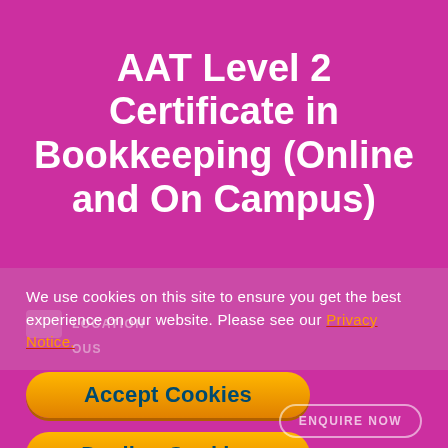AAT Level 2 Certificate in Bookkeeping (Online and On Campus)
We use cookies on this site to ensure you get the best experience on our website. Please see our Privacy Notice.
Accept Cookies
Decline Cookies